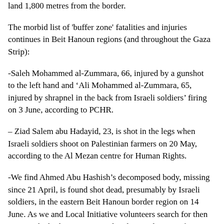land 1,800 metres from the border.
The morbid list of 'buffer zone' fatalities and injuries continues in Beit Hanoun regions (and throughout the Gaza Strip):
-Saleh Mohammed al-Zummara, 66, injured by a gunshot to the left hand and ‘Ali Mohammed al-Zummara, 65, injured by shrapnel in the back from Israeli soldiers’ firing on 3 June, according to PCHR.
– Ziad Salem abu Hadayid, 23, is shot in the legs when Israeli soldiers shoot on Palestinian farmers on 20 May, according to the Al Mezan centre for Human Rights.
-We find Ahmed Abu Hashish’s decomposed body, missing since 21 April, is found shot dead, presumably by Israeli soldiers, in the eastern Beit Hanoun border region on 14 June. As we and Local Initiative volunteers search for then remove the body, we come under close and intense fire from the Israeli soldiers at the border. We are clearly, visibly unarmed; the shooting intesifies when the